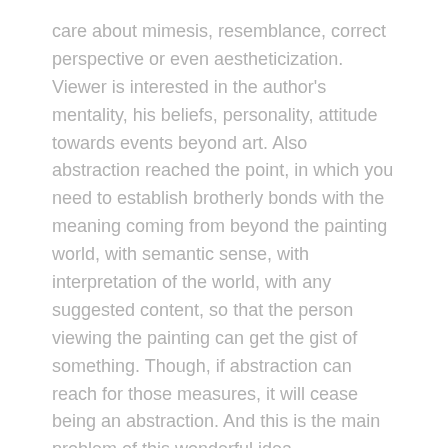care about mimesis, resemblance, correct perspective or even aestheticization. Viewer is interested in the author's mentality, his beliefs, personality, attitude towards events beyond art. Also abstraction reached the point, in which you need to establish brotherly bonds with the meaning coming from beyond the painting world, with semantic sense, with interpretation of the world, with any suggested content, so that the person viewing the painting can get the gist of something. Though, if abstraction can reach for those measures, it will cease being an abstraction. And this is the main problem of this wonderful idea.
During the past decades, part of the quest for the new sense of art, it became popular to explain modern works using very sophisticated language, most often with the help of meanders of bogus philosophy. It's hard to like it, many artists are trying to make us believe that with just a couple of lines and splashes of paint they are trying to solve the essence of